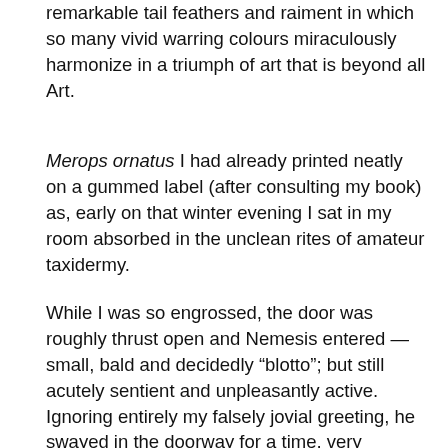remarkable tail feathers and raiment in which so many vivid warring colours miraculously harmonize in a triumph of art that is beyond all Art.
Merops ornatus I had already printed neatly on a gummed label (after consulting my book) as, early on that winter evening I sat in my room absorbed in the unclean rites of amateur taxidermy.
While I was so engrossed, the door was roughly thrust open and Nemesis entered — small, bald and decidedly “blotto”; but still acutely sentient and unpleasantly active. Ignoring entirely my falsely jovial greeting, he swayed in the doorway for a time, very solemnly taking in the details of my unlovely employ.
“Vy it iss?” he asked, quite suddenly and passionately.